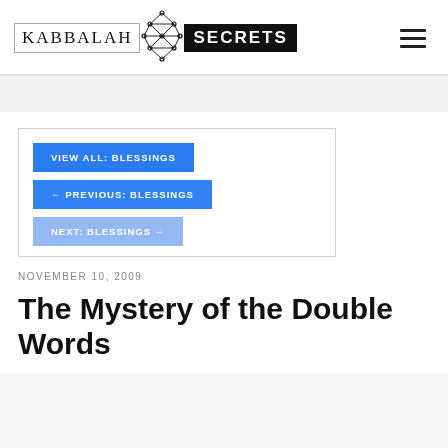KABBALAH SECRETS
VIEW ALL: BLESSINGS
← PREVIOUS: BLESSINGS
NEXT: BLESSINGS →
NOVEMBER 10, 2009
The Mystery of the Double Words